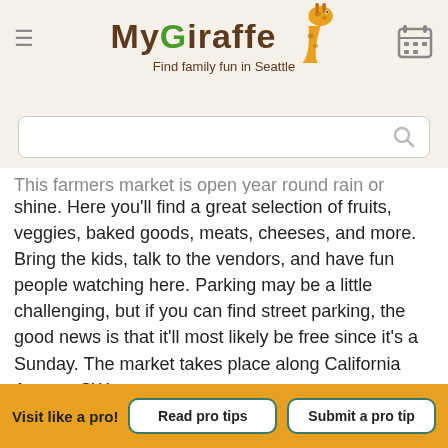[Figure (logo): MyGiraffe logo with giraffe illustration and tagline 'Find family fun in Seattle']
This farmers market is open year round rain or shine. Here you'll find a great selection of fruits, veggies, baked goods, meats, cheeses, and more. Bring the kids, talk to the vendors, and have fun people watching here. Parking may be a little challenging, but if you can find street parking, the good news is that it'll most likely be free since it's a Sunday. The market takes place along California Avenue SW.
West Seattle Junction
44th Avenue SW & SW Alaska Street
Seattle, WA 98116
Visit their Web Site
Visit like a pro!
Read pro tips
Submit a pro tip